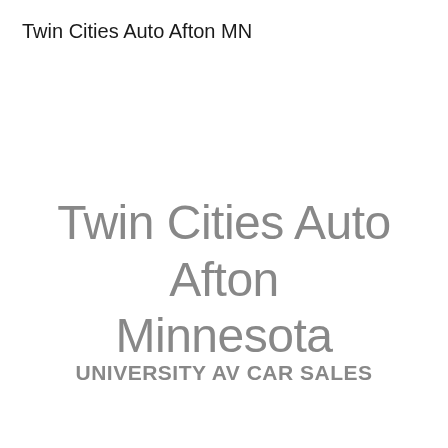Twin Cities Auto Afton MN
Twin Cities Auto Afton Minnesota
UNIVERSITY AV CAR SALES